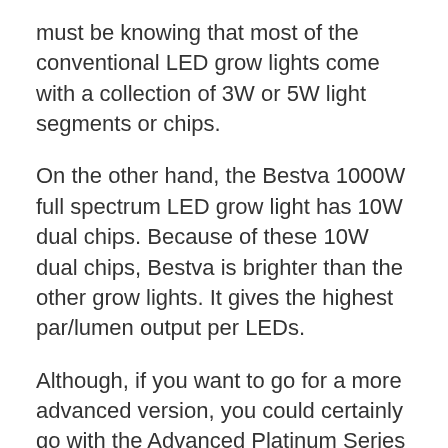must be knowing that most of the conventional LED grow lights come with a collection of 3W or 5W light segments or chips.
On the other hand, the Bestva 1000W full spectrum LED grow light has 10W dual chips. Because of these 10W dual chips, Bestva is brighter than the other grow lights. It gives the highest par/lumen output per LEDs.
Although, if you want to go for a more advanced version, you could certainly go with the Advanced Platinum Series as there is no comparison of that LED in the industry. The Bestva 1000W is a good option for those growers who have a large grow room and who want to accumulate multiple grow lights in their grow room for an affordable price.